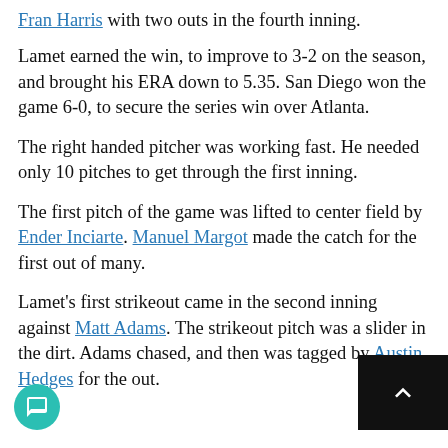Fran Harris with two outs in the fourth inning.
Lamet earned the win, to improve to 3-2 on the season, and brought his ERA down to 5.35. San Diego won the game 6-0, to secure the series win over Atlanta.
The right handed pitcher was working fast. He needed only 10 pitches to get through the first inning.
The first pitch of the game was lifted to center field by Ender Inciarte. Manuel Margot made the catch for the first out of many.
Lamet's first strikeout came in the second inning against Matt Adams. The strikeout pitch was a slider in the dirt. Adams chased, and then was tagged by Austin Hedges for the out.